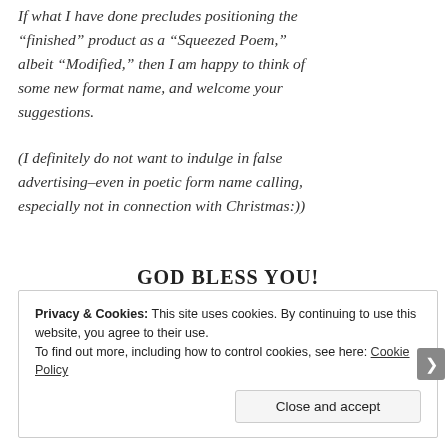If what I have done precludes positioning the “finished” product as a “Squeezed Poem,” albeit “Modified,” then I am happy to think of some new format name, and welcome your suggestions.
(I definitely do not want to indulge in false advertising–even in poetic form name calling, especially not in connection with Christmas:))
GOD BLESS YOU!
Privacy & Cookies: This site uses cookies. By continuing to use this website, you agree to their use.
To find out more, including how to control cookies, see here: Cookie Policy
Close and accept